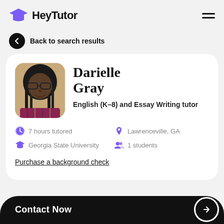[Figure (logo): HeyTutor logo with purple graduation cap icon and bold text 'HeyTutor']
Back to search results
[Figure (photo): Profile photo of Darielle Gray, a young woman with braids and glasses, smiling]
Darielle Gray
English (K-8) and Essay Writing tutor
7 hours tutored
Lawrenceville, GA
Georgia State University
1 students
Purchase a background check
Contact Now